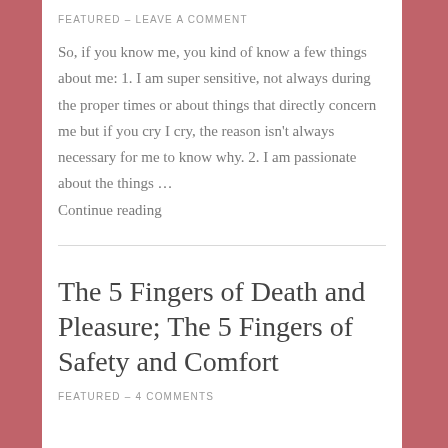FEATURED  –  LEAVE A COMMENT
So, if you know me, you kind of know a few things about me: 1. I am super sensitive, not always during the proper times or about things that directly concern me but if you cry I cry, the reason isn't always necessary for me to know why. 2. I am passionate about the things … Continue reading
The 5 Fingers of Death and Pleasure; The 5 Fingers of Safety and Comfort
FEATURED  –  4 COMMENTS